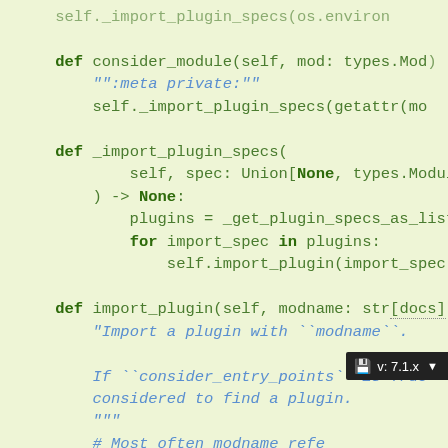self._import_plugin_specs(os.environ
def consider_module(self, mod: types.Mod
    """:meta private:"""
    self._import_plugin_specs(getattr(mo
def _import_plugin_specs(
        self, spec: Union[None, types.Module
    ) -> None:
        plugins = _get_plugin_specs_as_list(
        for import_spec in plugins:
            self.import_plugin(import_spec)
def import_plugin(self, modname: str[docs]
    """Import a plugin with ``modname``.

    If ``consider_entry_points`` is True
    considered to find a plugin.
    """
    # Most often modname refe
    # "terminal" or "capture".  Those p
    # basename for historic purposes but